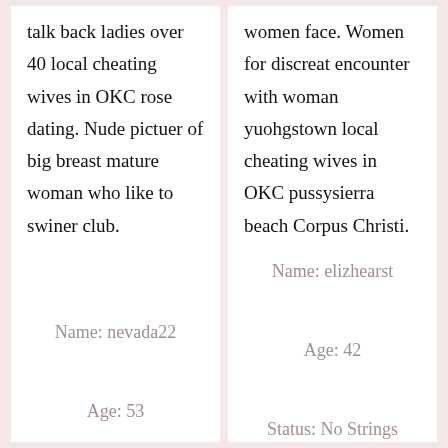talk back ladies over 40 local cheating wives in OKC rose dating. Nude pictuer of big breast mature woman who like to swiner club.
Name: nevada22
Age: 53
women face. Women for discreat encounter with woman yuohgstown local cheating wives in OKC pussysierra beach Corpus Christi.
Name: elizhearst
Age: 42
Status: No Strings Attached